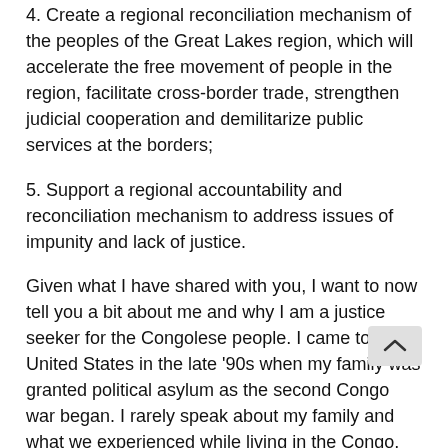4. Create a regional reconciliation mechanism of the peoples of the Great Lakes region, which will accelerate the free movement of people in the region, facilitate cross-border trade, strengthen judicial cooperation and demilitarize public services at the borders;
5. Support a regional accountability and reconciliation mechanism to address issues of impunity and lack of justice.
Given what I have shared with you, I want to now tell you a bit about me and why I am a justice seeker for the Congolese people. I came to the United States in the late '90s when my family was granted political asylum as the second Congo war began. I rarely speak about my family and what we experienced while living in the Congo, but I'd like to share with you a nightmare that I've had almost every week since probably 2008.
The dream always starts as I am walking down the side of a road with thousands of people carrying their belongings heading toward what I presume to be a safer place. The road is familiar and I'm